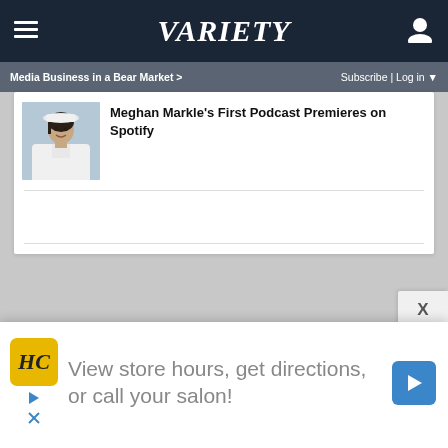Variety
Media Business in a Bear Market >
Subscribe | Log in
Meghan Markle's First Podcast Premieres on Spotify
[Figure (photo): Thumbnail photo of Meghan Markle wearing a white outfit and white hat]
View store hours, get directions, or call your salon!